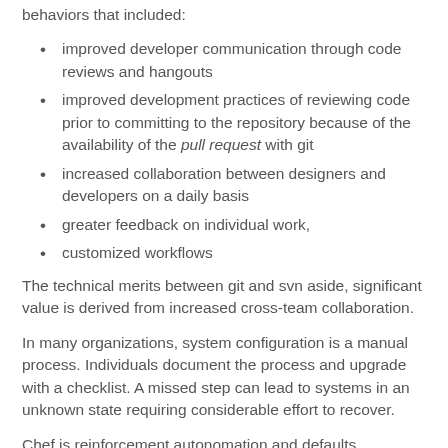behaviors that included:
improved developer communication through code reviews and hangouts
improved development practices of reviewing code prior to committing to the repository because of the availability of the pull request with git
increased collaboration between designers and developers on a daily basis
greater feedback on individual work,
customized workflows
The technical merits between git and svn aside, significant value is derived from increased cross-team collaboration.
In many organizations, system configuration is a manual process. Individuals document the process and upgrade with a checklist. A missed step can lead to systems in an unknown state requiring considerable effort to recover.
Chef is reinforcement autonomation and defaults...